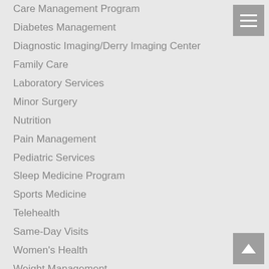Care Management Program
Diabetes Management
Diagnostic Imaging/Derry Imaging Center
Family Care
Laboratory Services
Minor Surgery
Nutrition
Pain Management
Pediatric Services
Sleep Medicine Program
Sports Medicine
Telehealth
Same-Day Visits
Women's Health
Weight Management
For Patients
Appointments